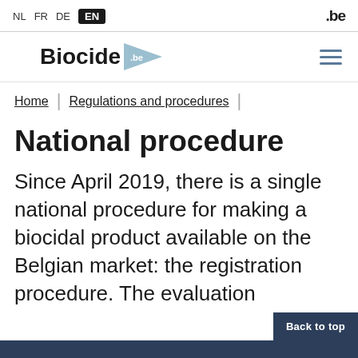NL FR DE EN | .be
[Figure (logo): Biocide.be logo with a blue play-button triangle shape containing '.be' text, and a hamburger menu icon on the right]
Home | Regulations and procedures |
National procedure
Since April 2019, there is a single national procedure for making a biocidal product available on the Belgian market: the registration procedure. The evaluation